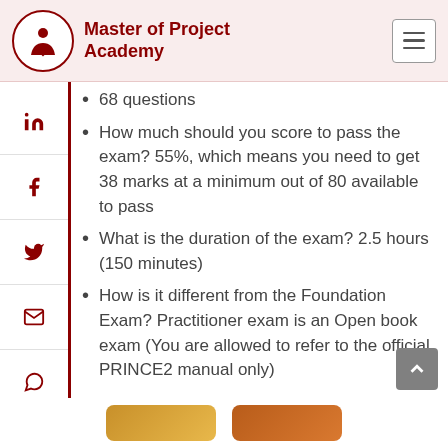Master of Project Academy
68 questions
How much should you score to pass the exam? 55%, which means you need to get 38 marks at a minimum out of 80 available to pass
What is the duration of the exam? 2.5 hours (150 minutes)
How is it different from the Foundation Exam? Practitioner exam is an Open book exam (You are allowed to refer to the official PRINCE2 manual only)